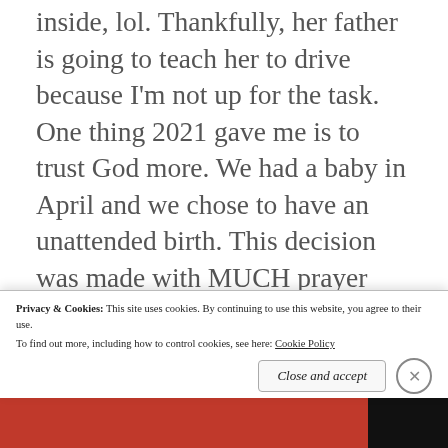inside, lol. Thankfully, her father is going to teach her to drive because I'm not up for the task. One thing 2021 gave me is to trust God more. We had a baby in April and we chose to have an unattended birth. This decision was made with MUCH prayer and deliberation. But I just got such a sense of peace about “our”decision that I knew it was right
Privacy & Cookies: This site uses cookies. By continuing to use this website, you agree to their use.
To find out more, including how to control cookies, see here: Cookie Policy
Close and accept